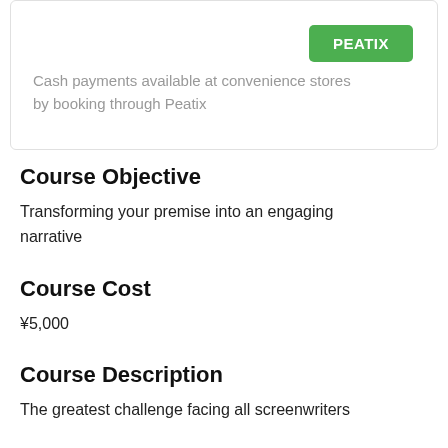[Figure (other): Peatix booking button inside a card box with text about cash payments]
Cash payments available at convenience stores by booking through Peatix
Course Objective
Transforming your premise into an engaging narrative
Course Cost
¥5,000
Course Description
The greatest challenge facing all screenwriters